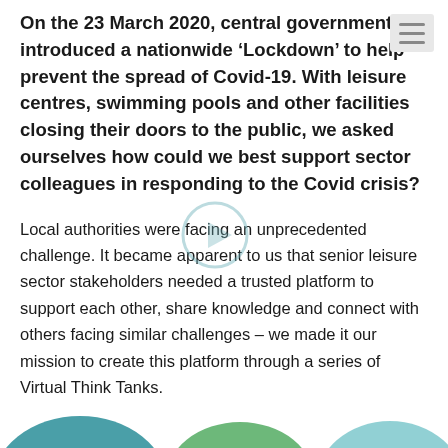On the 23 March 2020, central government introduced a nationwide ‘Lockdown’ to help prevent the spread of Covid-19. With leisure centres, swimming pools and other facilities closing their doors to the public, we asked ourselves how could we best support sector colleagues in responding to the Covid crisis?
Local authorities were facing an unprecedented challenge. It became apparent to us that senior leisure sector stakeholders needed a trusted platform to support each other, share knowledge and connect with others facing similar challenges – we made it our mission to create this platform through a series of Virtual Think Tanks.
[Figure (illustration): Three partial circular/rounded shapes visible at the bottom of the page in teal, green, and light teal colors]